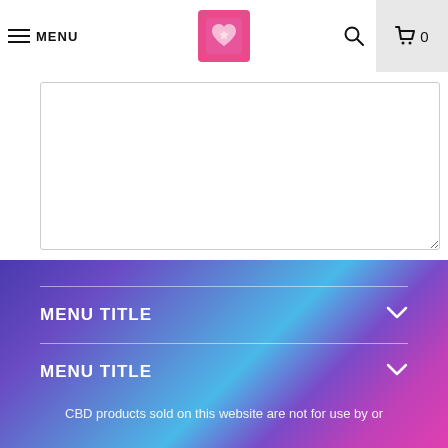MENU
[Figure (screenshot): Comment textarea input box, partially visible, with resize handle in bottom right corner]
[Figure (screenshot): Post comment button, purple/violet background with white text]
MENU TITLE
MENU TITLE
CBD products sold on this website are not for use by or